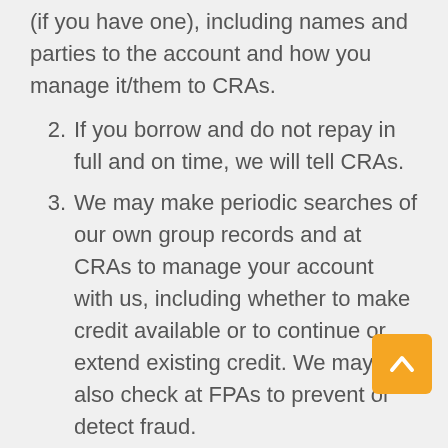(if you have one), including names and parties to the account and how you manage it/them to CRAs.
2. If you borrow and do not repay in full and on time, we will tell CRAs.
3. We may make periodic searches of our own group records and at CRAs to manage your account with us, including whether to make credit available or to continue or extend existing credit. We may also check at FPAs to prevent or detect fraud.
4. If you have borrowed from us do not make payments that you owe us, we will trace your...